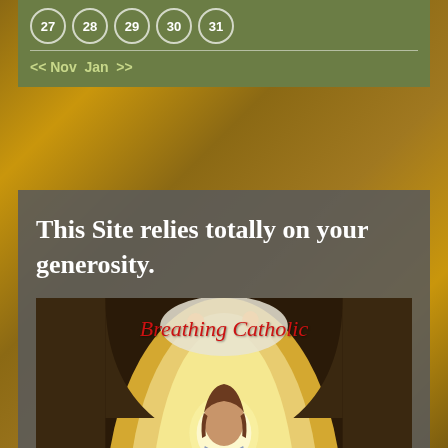[Figure (illustration): Calendar widget showing days 27-31 in circles on an olive/green background, with navigation links << Nov and Jan >>]
<< Nov  Jan >>
This Site relies totally on your generosity.
[Figure (illustration): Book cover showing Jesus Christ with a halo under an arch with cherubs, titled 'Breathing Catholic' in red cursive script, against a golden ornate background]